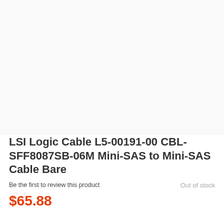[Figure (photo): Product image area (white/light gray background, no visible product image shown)]
LSI Logic Cable L5-00191-00 CBL-SFF8087SB-06M Mini-SAS to Mini-SAS Cable Bare
Be the first to review this product
Out of stock
$65.88